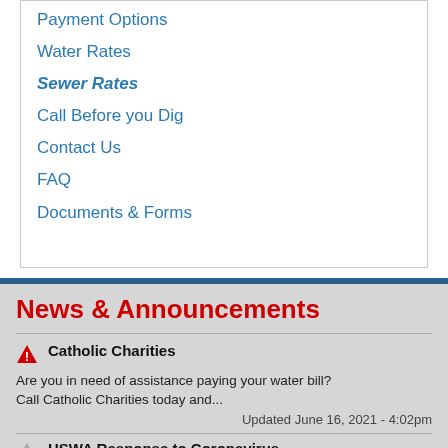Payment Options
Water Rates
Sewer Rates
Call Before you Dig
Contact Us
FAQ
Documents & Forms
News & Announcements
Catholic Charities
Are you in need of assistance paying your water bill? Call Catholic Charities today and...
Updated June 16, 2021 - 4:02pm
HSWA Response to Coronavirus
Highland Sewer & Water Authority (HSWA) does not